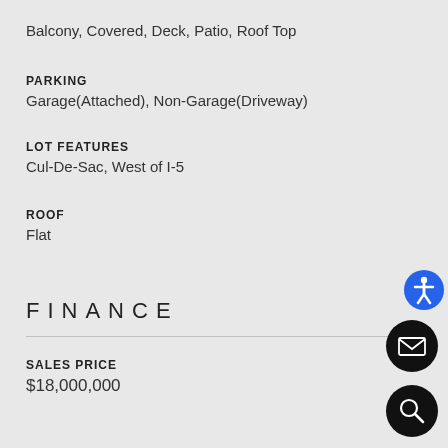Balcony, Covered, Deck, Patio, Roof Top
PARKING
Garage(Attached), Non-Garage(Driveway)
LOT FEATURES
Cul-De-Sac, West of I-5
ROOF
Flat
FINANCE
SALES PRICE
$18,000,000